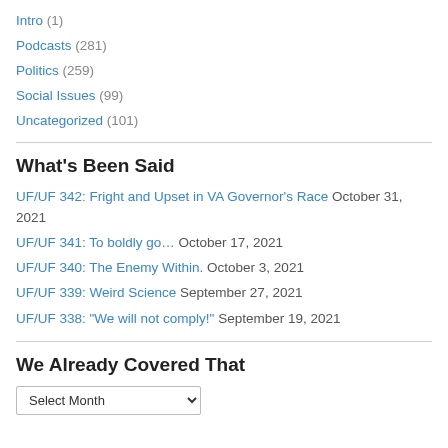Intro (1)
Podcasts (281)
Politics (259)
Social Issues (99)
Uncategorized (101)
What's Been Said
UF/UF 342: Fright and Upset in VA Governor's Race October 31, 2021
UF/UF 341: To boldly go… October 17, 2021
UF/UF 340: The Enemy Within. October 3, 2021
UF/UF 339: Weird Science September 27, 2021
UF/UF 338: "We will not comply!" September 19, 2021
We Already Covered That
Select Month